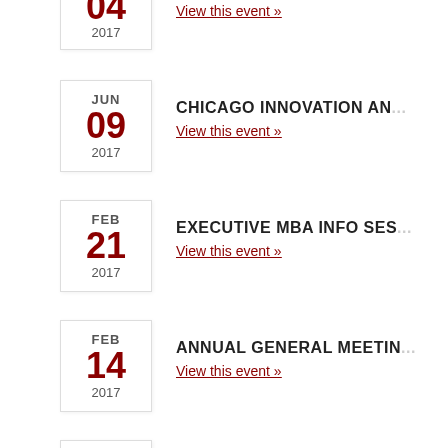04 2017 GOVERNANCE IN JAPAN - View this event »
JUN 09 2017 CHICAGO INNOVATION AN... - View this event »
FEB 21 2017 EXECUTIVE MBA INFO SES... - View this event »
FEB 14 2017 ANNUAL GENERAL MEETIN... - View this event »
DEC 20 2016 YEAR-END CELEBRATION ... - View this event »